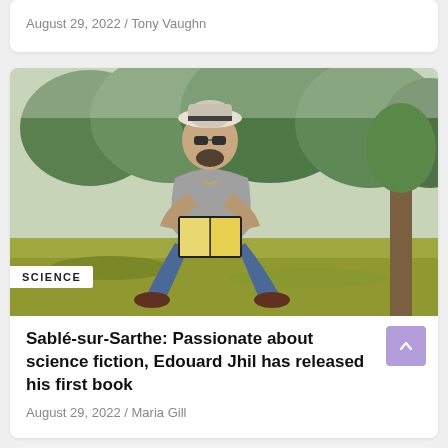August 29, 2022 / Tony Vaughn
[Figure (photo): Man with hat and sunglasses sitting outdoors on grass reading a book, surrounded by trees]
SCIENCE
Sablé-sur-Sarthe: Passionate about science fiction, Edouard Jhil has released his first book
August 29, 2022 / Maria Gill